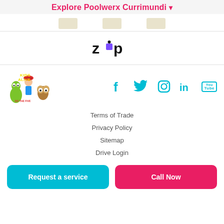Explore Poolwerx Currimundi ▾
[Figure (illustration): Three partially visible product images (pool chemicals) shown in a strip at the top]
[Figure (logo): Zip payment logo — black text 'zip' with a purple square replacing the letter 'i']
[Figure (logo): Kids Alive Do The Five safety campaign logo — cartoon alien, child with hat, owl characters with yellow text]
[Figure (infographic): Social media icons row: Facebook, Twitter, Instagram, LinkedIn, YouTube — all in teal/cyan color]
Terms of Trade
Privacy Policy
Sitemap
Drive Login
Request a service
Call Now